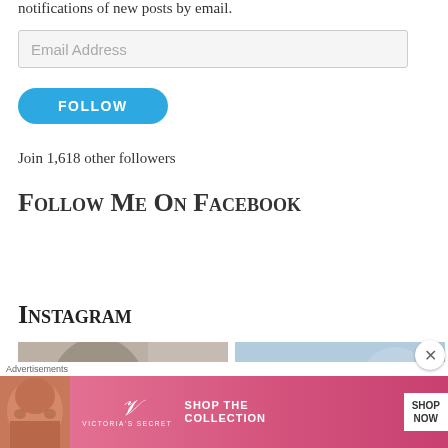notifications of new posts by email.
Email Address
FOLLOW
Join 1,618 other followers
Follow Me On Facebook
Instagram
[Figure (photo): Instagram photo left - person with glasses]
[Figure (photo): Instagram photo right - outdoor sky scene]
Advertisements
[Figure (photo): Victoria's Secret advertisement banner with model, VS logo, SHOP THE COLLECTION text and SHOP NOW button]